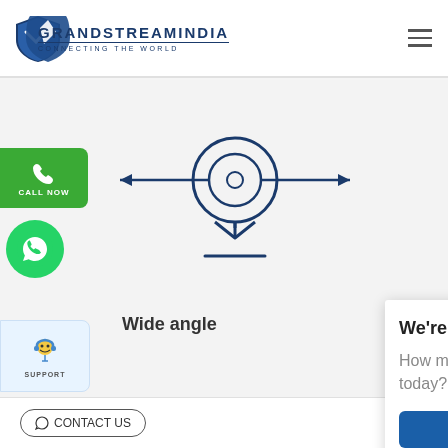[Figure (logo): Grandstream India logo with shield icon and text GRANDSTREAMINDIA / CONNECTING THE WORLD]
[Figure (illustration): Hamburger menu icon (three horizontal lines) in top right corner]
[Figure (illustration): Green CALL NOW button with phone icon on left side]
[Figure (illustration): Green WhatsApp button with WhatsApp icon on left side]
[Figure (illustration): Webcam/camera icon with left-right arrows indicating wide angle pan, in blue outline style]
Wide angle
[Figure (illustration): Support button with support agent icon on left side]
[Figure (screenshot): Chat popup overlay: We're Online! How may I help you today? with Chat now button and photo of female support agent]
We're Online!
How may I help you today?
Chat now
[Figure (illustration): CONTACT US button at bottom footer]